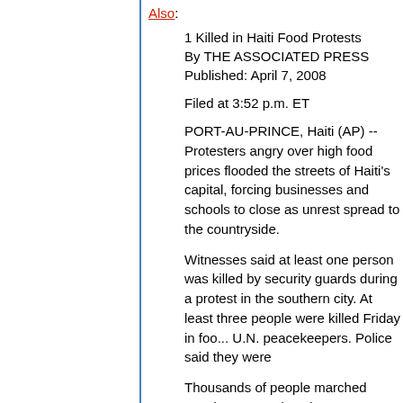Also:
1 Killed in Haiti Food Protests
By THE ASSOCIATED PRESS
Published: April 7, 2008
Filed at 3:52 p.m. ET
PORT-AU-PRINCE, Haiti (AP) -- Protesters angry over high food prices flooded the streets of Haiti's capital, forcing businesses and schools to close as unrest spread to the countryside.
Witnesses said at least one person was killed by security guards during a protest in the southern city. At least three people were killed Friday in food riots involving U.N. peacekeepers. Police said they were
Thousands of people marched mostly peacefully to the National Palace in Port-au-Prince. "We're hungry," some chanted. Others carried posters reading "Down with the exp
Haitians are particularly affected by food price increases worldwide. Eighty percent of the population lives on less than (euro1.27) a day. The cost of staples such condensed milk has gone up 50 percent in